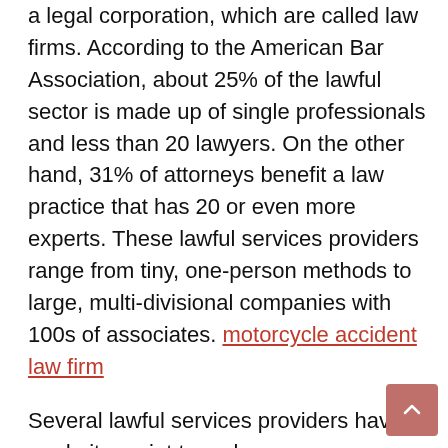a legal corporation, which are called law firms. According to the American Bar Association, about 25% of the lawful sector is made up of single professionals and less than 20 lawyers. On the other hand, 31% of attorneys benefit a law practice that has 20 or even more experts. These lawful services providers range from tiny, one-person methods to large, multi-divisional companies with 100s of associates. motorcycle accident law firm
Several lawful services providers have made it a point to embrace a more business-like attitude. As opposed to operating as a standalone entity, these business currently have practice supervisors with differing degrees of responsibility and authority. These experts